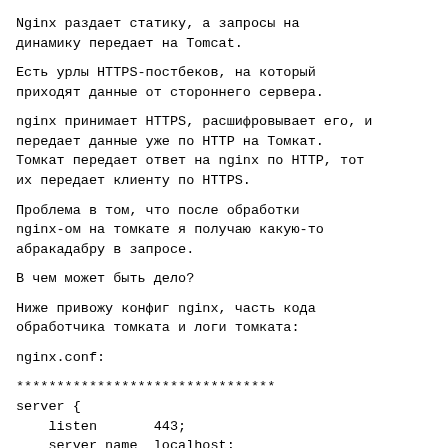Nginx раздает статику, а запросы на динамику передает на Tomcat.
Есть урлы HTTPS-постбеков, на который приходят данные от стороннего сервера.
nginx принимает HTTPS, расшифровывает его, и передает данные уже по HTTP на Томкат. Томкат передает ответ на nginx по HTTP, тот их передает клиенту по HTTPS.
Проблема в том, что после обработки nginx-ом на томкате я получаю какую-то абракадабру в запросе.
В чем может быть дело?
Ниже привожу конфиг nginx, часть кода обработчика томката и логи томката:
nginx.conf:
********************************
server {
    listen       443;
    server_name  localhost;

    ssl                    on;
    ssl_certificate        /usr/local/nginx/company/compar